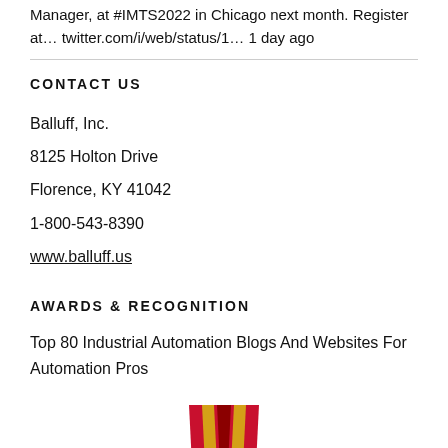Manager, at #IMTS2022 in Chicago next month. Register at… twitter.com/i/web/status/1… 1 day ago
CONTACT US
Balluff, Inc.
8125 Holton Drive
Florence, KY 41042
1-800-543-8390
www.balluff.us
AWARDS & RECOGNITION
Top 80 Industrial Automation Blogs And Websites For Automation Pros
[Figure (logo): Red and gold V-shaped award ribbon/medal logo]